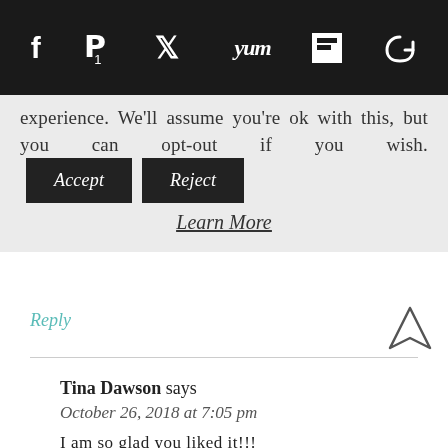Social share bar with icons: f (Facebook), Pinterest (1), Twitter, Yum, Flipboard, camera/reset icon
experience. We'll assume you're ok with this, but you can opt-out if you wish. [Accept] [Reject]
Learn More
Reply
Tina Dawson says
October 26, 2018 at 7:05 pm
I am so glad you liked it!!!
Reply